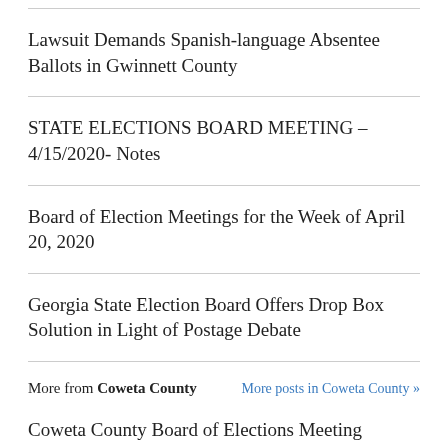Lawsuit Demands Spanish-language Absentee Ballots in Gwinnett County
STATE ELECTIONS BOARD MEETING – 4/15/2020- Notes
Board of Election Meetings for the Week of April 20, 2020
Georgia State Election Board Offers Drop Box Solution in Light of Postage Debate
More from Coweta County   More posts in Coweta County »
Coweta County Board of Elections Meeting